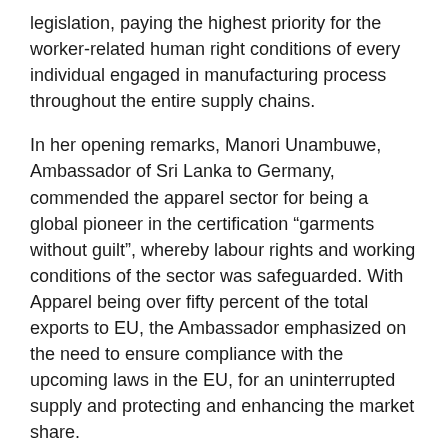legislation, paying the highest priority for the worker-related human right conditions of every individual engaged in manufacturing process throughout the entire supply chains.
In her opening remarks, Manori Unambuwe, Ambassador of Sri Lanka to Germany, commended the apparel sector for being a global pioneer in the certification “garments without guilt”, whereby labour rights and working conditions of the sector was safeguarded. With Apparel being over fifty percent of the total exports to EU, the Ambassador emphasized on the need to ensure compliance with the upcoming laws in the EU, for an uninterrupted supply and protecting and enhancing the market share.
Mr. Yohan Lawrence, Secretary General of the JAAF highlighted the importance of the webinar and shared insights into recent trends of the Sri Lankan apparel industry, with an emphasis on trade volumes between Sri Lanka and Germany.
The principal panelist, Mr. Markus Löning, Managing Director of Adjin Consultancy, his presentation showed the...